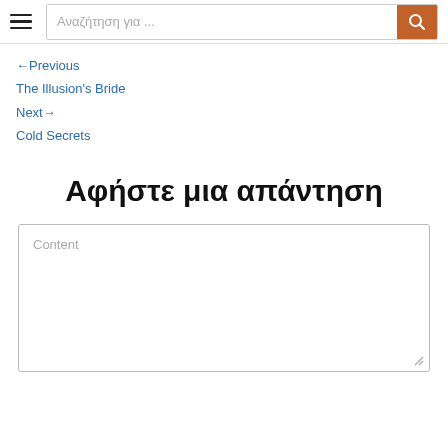Αναζήτηση για ...
←Previous
The Illusion's Bride
Next→
Cold Secrets
Αφήστε μια απάντηση
Content